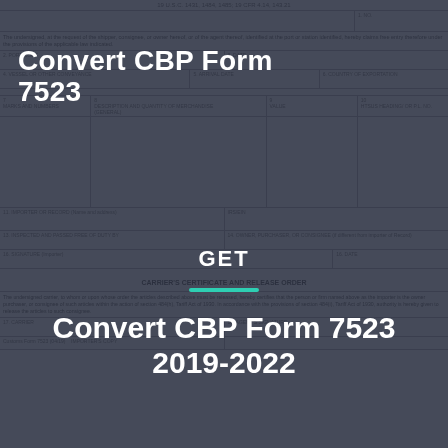Convert CBP Form 7523
GET
[Figure (other): Teal horizontal decorative line separator]
Convert CBP Form 7523 2019-2022
Get Form